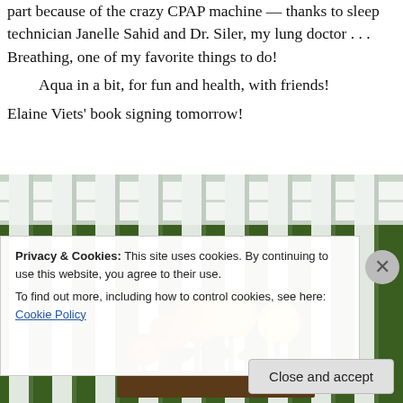part because of the crazy CPAP machine — thanks to sleep technician Janelle Sahid and Dr. Siler, my lung doctor . . .  Breathing, one of my favorite things to do!
Aqua in a bit, for fun and health, with friends!
Elaine Viets' book signing tomorrow!
[Figure (photo): Photo of orange and yellow marigold flowers in a planter box on a white deck railing, with green grass visible in the background through the fence slats.]
Privacy & Cookies: This site uses cookies. By continuing to use this website, you agree to their use.
To find out more, including how to control cookies, see here: Cookie Policy